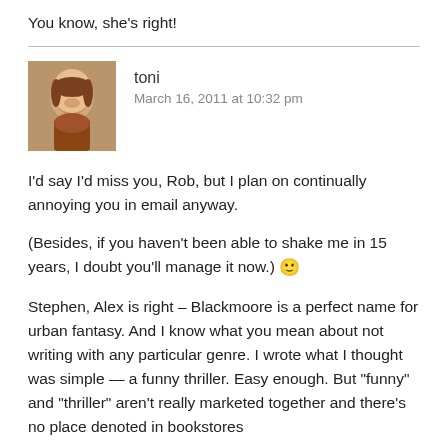You know, she's right!
toni
March 16, 2011 at 10:32 pm
I'd say I'd miss you, Rob, but I plan on continually annoying you in email anyway.
(Besides, if you haven't been able to shake me in 15 years, I doubt you'll manage it now.) 🙂
Stephen, Alex is right – Blackmoore is a perfect name for urban fantasy. And I know what you mean about not writing with any particular genre. I wrote what I thought was simple — a funny thriller. Easy enough. But "funny" and "thriller" aren't really marketed together and there's no place denoted in bookstores